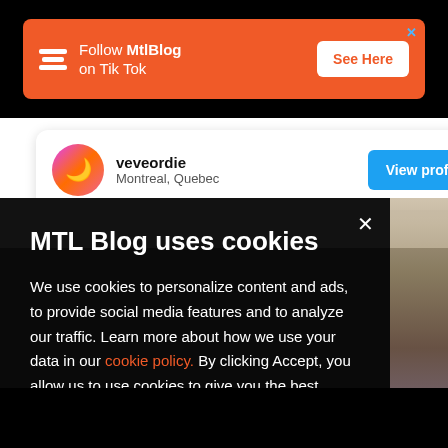[Figure (screenshot): Orange ad banner for MtlBlog TikTok with close button, logo, text and See Here button]
veveordie
Montreal, Quebec
View profile
MTL Blog uses cookies
We use cookies to personalize content and ads, to provide social media features and to analyze our traffic. Learn more about how we use your data in our cookie policy. By clicking Accept, you allow us to use cookies to give you the best experience on site.
Accept